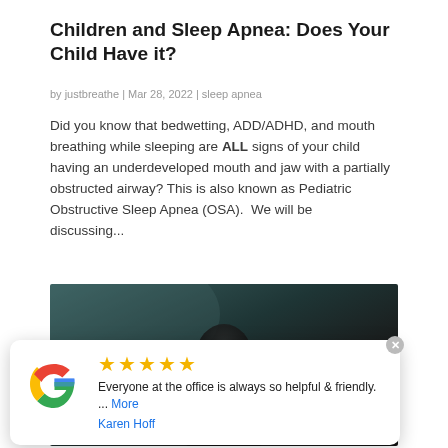Children and Sleep Apnea: Does Your Child Have it?
by justbreathe | Mar 28, 2022 | sleep apnea
Did you know that bedwetting, ADD/ADHD, and mouth breathing while sleeping are ALL signs of your child having an underdeveloped mouth and jaw with a partially obstructed airway? This is also known as Pediatric Obstructive Sleep Apnea (OSA). We will be discussing...
[Figure (photo): Dark silhouette photo, likely a child or person, dark teal and black tones]
Everyone at the office is always so helpful & friendly. ... More
Karen Hoff